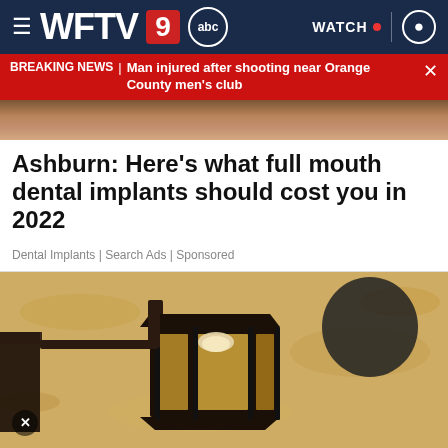WFTV 9 abc | WATCH
BREAKING NEWS | Man injured after shooting near Orange County men's club
[Figure (photo): Partial photo of a person's face cropped at top]
Ashburn: Here's what full mouth dental implants should cost you in 2022
Dental Implants | Search Ads | Sponsored
[Figure (photo): Photo of a black outdoor wall lantern mounted on a textured stucco wall]
[Figure (photo): St. Francis Reflections advertisement - Treating your child, LEARN MORE]